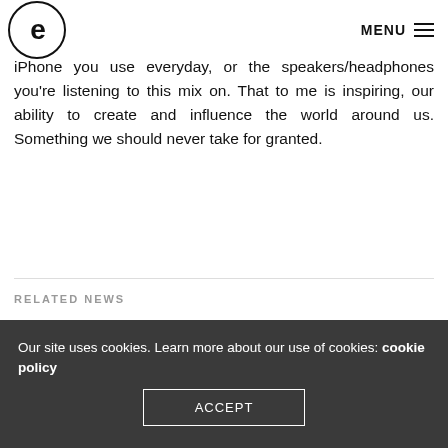e | MENU
iPhone you use everyday, or the speakers/headphones you're listening to this mix on. That to me is inspiring, our ability to create and influence the world around us. Something we should never take for granted.
RELATED NEWS
[Figure (photo): Related news image area showing partial circular graphic elements on dark background]
Our site uses cookies. Learn more about our use of cookies: cookie policy
ACCEPT